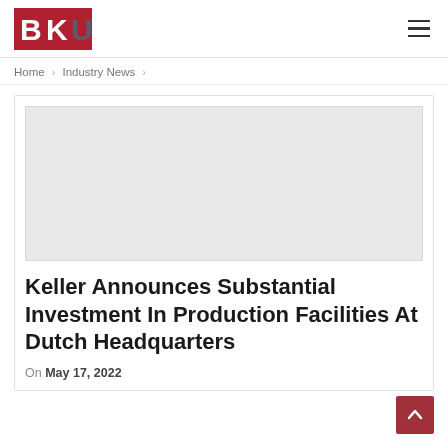BKU [logo] — hamburger menu
Home > Industry News >
[Figure (photo): Light gray image placeholder rectangle]
Keller Announces Substantial Investment In Production Facilities At Dutch Headquarters
On May 17, 2022